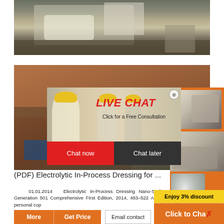[Figure (photo): Industrial mining/crushing machinery at a work site, large crawler-mounted equipment visible]
[Figure (photo): Red/brown rocky terrain with mining machinery in background, live chat popup overlay with workers in hard hats]
(PDF) Electrolytic In-Process Dressing for ...
01.01.2014  Electrolytic In-Process Dressing Nano-Surface Generation 501 Comprehensive First Edition, 2014, 483–522 Author's personal cop
[Figure (screenshot): Right sidebar with orange background showing mining equipment images, discount and chat buttons]
More  Get Price
Email contact
Enquiry